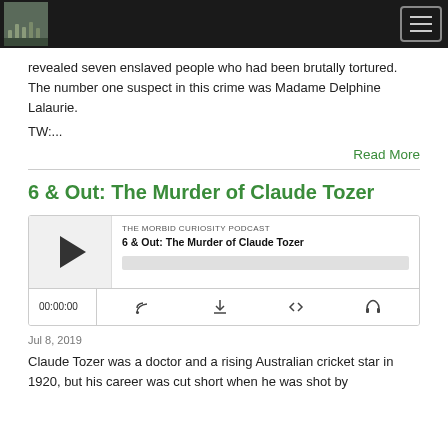The Morbid Curiosity Podcast [nav bar with logo and hamburger menu]
revealed seven enslaved people who had been brutally tortured. The number one suspect in this crime was Madame Delphine Lalaurie.
TW:...
Read More
6 & Out: The Murder of Claude Tozer
[Figure (other): Embedded podcast audio player for episode '6 & Out: The Murder of Claude Tozer' from The Morbid Curiosity Podcast. Shows play button, episode title, progress bar, timestamp 00:00:00, and control icons.]
Jul 8, 2019
Claude Tozer was a doctor and a rising Australian cricket star in 1920, but his career was cut short when he was shot by